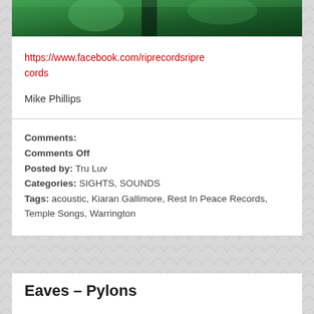[Figure (photo): Partial photo showing green foliage/nature scene, cropped at top]
https://www.facebook.com/riprecordsriprecords
Mike Phillips
Comments: Comments Off
Posted by: Tru Luv
Categories: SIGHTS, SOUNDS
Tags: acoustic, Kiaran Gallimore, Rest In Peace Records, Temple Songs, Warrington
Eaves – Pylons